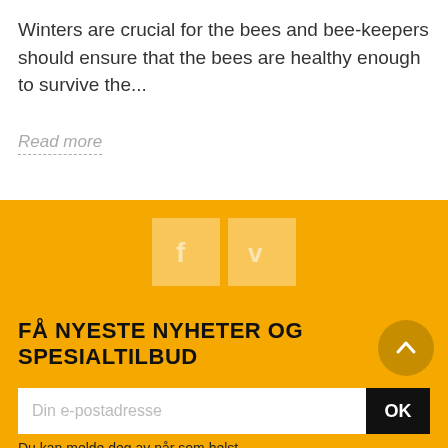Winters are crucial for the bees and bee-keepers should ensure that the bees are healthy enough to survive the...
Read more
[Figure (logo): Facebook and Vimeo social media icons on golden background]
FÅ NYESTE NYHETER OG SPESIALTILBUD
Din e-postadresse
OK
Du kan melde deg av når som helst.